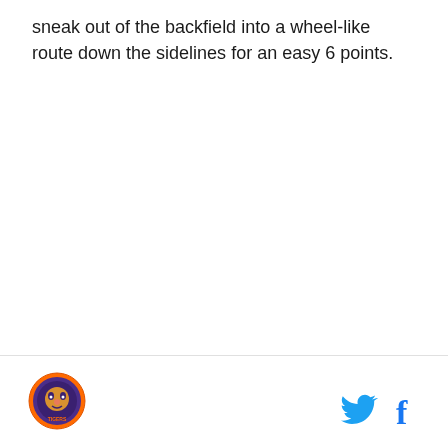sneak out of the backfield into a wheel-like route down the sidelines for an easy 6 points.
[Figure (logo): Circular sports team logo with purple/orange colors featuring a tiger or similar mascot illustration]
[Figure (logo): Twitter bird icon in cyan/teal blue]
[Figure (logo): Facebook 'f' icon in blue]